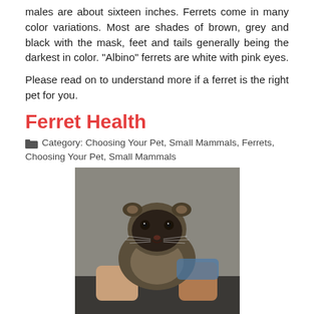males are about sixteen inches. Ferrets come in many color variations. Most are shades of brown, grey and black with the mask, feet and tails generally being the darkest in color. "Albino" ferrets are white with pink eyes.
Please read on to understand more if a ferret is the right pet for you.
Ferret Health
Category: Choosing Your Pet, Small Mammals, Ferrets, Choosing Your Pet, Small Mammals
[Figure (photo): A ferret being held by a person, viewed from above, showing the ferret's face and body with dark markings.]
You will need to take your ferret in to your veterinarian twice a year for a medical checkup and yearly vaccinations. Ferrets require yearly inoculations against canine distemper. They are highly susceptible to canine distemper and it is always fatal. Do not forget to inoculate against this every year!
Read more